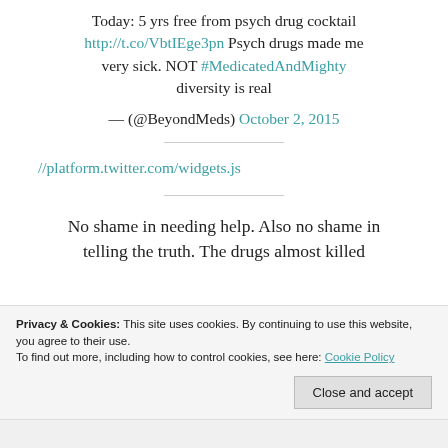Today: 5 yrs free from psych drug cocktail http://t.co/VbtIEge3pn Psych drugs made me very sick. NOT #MedicatedAndMighty diversity is real
— (@BeyondMeds) October 2, 2015
//platform.twitter.com/widgets.js
No shame in needing help. Also no shame in telling the truth. The drugs almost killed
Privacy & Cookies: This site uses cookies. By continuing to use this website, you agree to their use. To find out more, including how to control cookies, see here: Cookie Policy
Close and accept